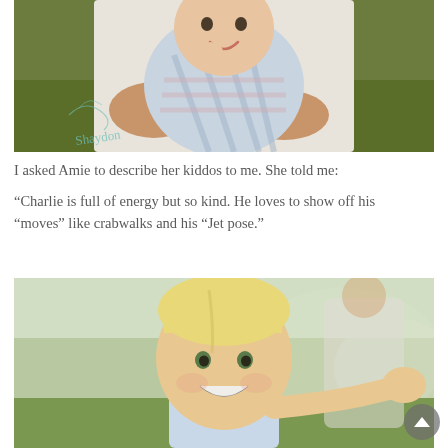[Figure (photo): Close-up photo of a smiling baby in a blue plaid outfit being held by an adult. Set outdoors with green grass background. A watermark reading 'Shaydon' is visible in teal script on the left side.]
I asked Amie to describe her kiddos to me. She told me:
“Charlie is full of energy but so kind. He loves to show off his “moves” like crabwalks and his “Jet pose.”
[Figure (photo): Outdoor photo of a young blonde boy smiling and reaching forward toward the camera with one hand. An adult is blurred in the background. Green trees and hills visible.]